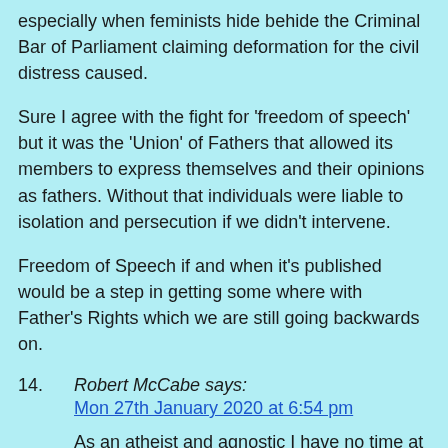especially when feminists hide behide the Criminal Bar of Parliament claiming deformation for the civil distress caused.
Sure I agree with the fight for ‘freedom of speech’ but it was the ‘Union’ of Fathers that allowed its members to express themselves and their opinions as fathers. Without that individuals were liable to isolation and persecution if we didn't intervene.
Freedom of Speech if and when it’s published would be a step in getting some where with Father’s Rights which we are still going backwards on.
14. Robert McCabe says:
Mon 27th January 2020 at 6:54 pm
As an atheist and agnostic I have no time at all for